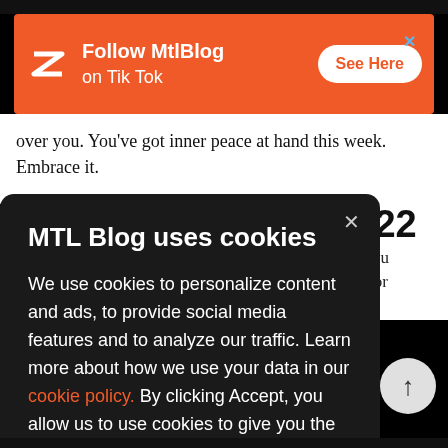[Figure (infographic): Orange advertisement banner for MtlBlog TikTok with logo, text 'Follow MtlBlog on Tik Tok', and 'See Here' button]
over you. You've got inner peace at hand this week. Embrace it.
MTL Blog uses cookies

We use cookies to personalize content and ads, to provide social media features and to analyze our traffic. Learn more about how we use your data in our cookie policy. By clicking Accept, you allow us to use cookies to give you the best experience on site.

Accept